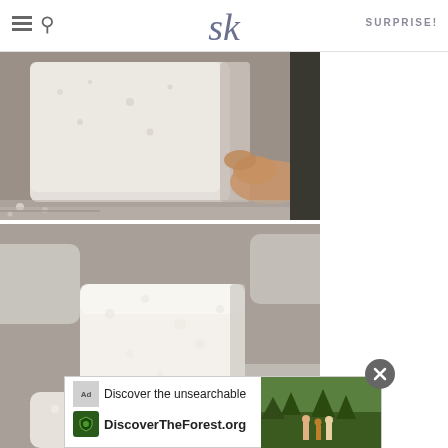SK — SURPRISE!
[Figure (photo): Close-up of a hand holding a large white marshmallow against a pan, with powdered sugar visible]
[Figure (photo): Close-up of several white square marshmallow cubes dusted with powdered sugar, stacked together]
[Figure (infographic): Advertisement banner: 'Discover the unsearchable — DiscoverTheForest.org' with forest imagery and close button]